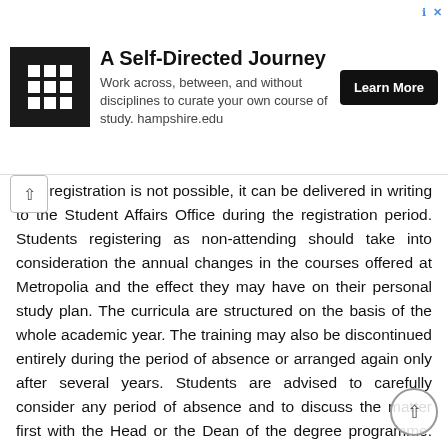[Figure (other): Advertisement banner for Hampshire College: logo with grid pattern, title 'A Self-Directed Journey', subtitle 'Work across, between, and without disciplines to curate your own course of study. hampshire.edu', and a 'Learn More' button.]
onic registration is not possible, it can be delivered in writing to the Student Affairs Office during the registration period. Students registering as non-attending should take into consideration the annual changes in the courses offered at Metropolia and the effect they may have on their personal study plan. The curricula are structured on the basis of the whole academic year. The training may also be discontinued entirely during the period of absence or arranged again only after several years. Students are advised to carefully consider any period of absence and to discuss the matter first with the Head or the Dean of the degree programme. Metropolia will not separately arrange any studies that have changed or been discontinued during a student's absence. If some of the courses in the curriculum of the student's original arrival group are no longer offered after the period of absence, the student must, together with his or her tutor lecturer or senior lecturer, prepare a proposal for a detailed personal study